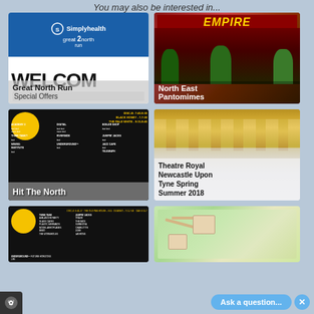You may also be interested in...
[Figure (illustration): Great North Run Simplyhealth logo on blue background with WELCOME text]
Great North Run Special Offers
[Figure (photo): Empire Theatre pantomime poster showing performers in costume, red background, WHAT'S ON DECEMBER 2017 - MARCH 2018]
North East Pantomimes
[Figure (photo): Hit The North music event listing on black background with yellow sun logo]
Hit The North
[Figure (photo): Theatre Royal Newcastle Upon Tyne building with golden columns lit up at night]
Theatre Royal Newcastle Upon Tyne Spring Summer 2018
[Figure (photo): Hit The North event listing, partially visible]
[Figure (map): Illustrated map, partially visible]
Ask a question...